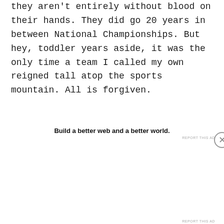they aren't entirely without blood on their hands. They did go 20 years in between National Championships. But hey, toddler years aside, it was the only time a team I called my own reigned tall atop the sports mountain. All is forgiven.
Build a better web and a better world.
REPORT THIS AD
Privacy & Cookies: This site uses cookies. By continuing to use this website, you agree to their use. To find out more, including how to control cookies, see here: Cookie Policy
Close and accept
REPORT THIS AD